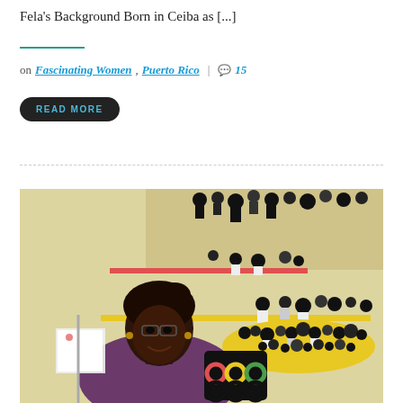Fela's Background Born in Ceiba as [...]
on Fascinating Women, Puerto Rico | 💬 15
READ MORE
[Figure (photo): A smiling woman seated in a room filled with black and white ceramic figurines displayed on shelves and a table. She wears a purple top.]